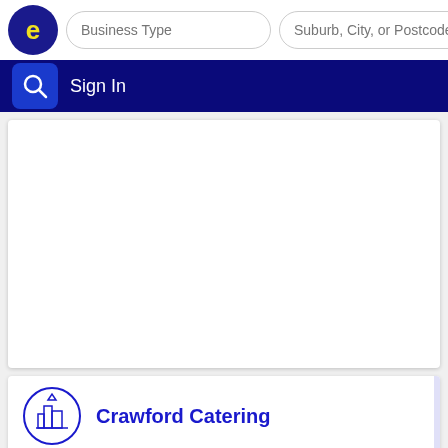[Figure (screenshot): Business directory app header with yellow 'e' logo on dark blue circle, two search input fields labeled 'Business Type' and 'Suburb, City, or Postcode']
Sign In
[Figure (map): Map area placeholder, white background]
Crawford Catering
Mansfield
Call 03 57751369